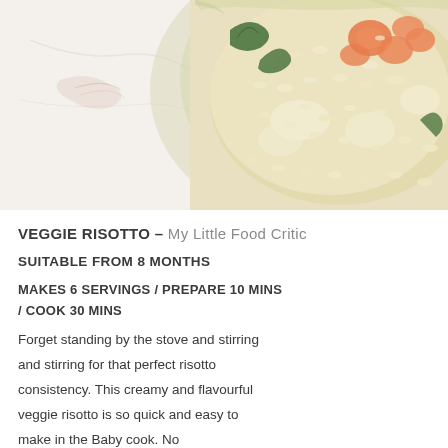[Figure (photo): A bowl of creamy veggie risotto with visible pieces of carrot and leafy greens, photographed from above on a white marble surface.]
VEGGIE RISOTTO – My Little Food Critic
SUITABLE FROM 8 MONTHS
MAKES 6 SERVINGS / PREPARE 10 MINS / COOK 30 MINS
Forget standing by the stove and stirring and stirring for that perfect risotto consistency. This creamy and flavourful veggie risotto is so quick and easy to make in the Baby cook. No...